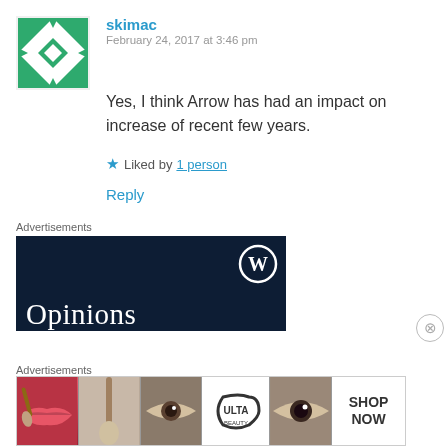[Figure (illustration): Green and white geometric avatar/gravatar icon with diamond and arrow pattern]
skimac
February 24, 2017 at 3:46 pm
Yes, I think Arrow has had an impact on increase of recent few years.
★ Liked by 1 person
Reply
Advertisements
[Figure (screenshot): Dark navy advertisement banner with WordPress logo (W in circle) at top right, and 'Opinions' text in large serif font at bottom left]
Advertisements
[Figure (screenshot): Ulta Beauty advertisement strip showing cosmetics images: red lips with makeup brush, eye with mascara, Ulta logo, eye closeup, and SHOP NOW button]